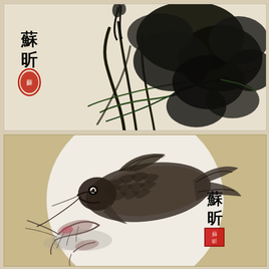[Figure (illustration): Chinese ink painting (shuimo) on beige paper depicting dark bold lotus plants with broad ink washes, vigorous brushstrokes. Artist signature '蘇昕' in black calligraphy on upper left with a red oval seal below.]
[Figure (illustration): Chinese ink painting on a circular fan-shaped white ground set against a tan/gold background. Depicts a large carp fish with detailed scales rendered in ink and wash, accompanied by shrimp below. Artist signature '蘇昕' in black calligraphy at right with a red square seal below.]